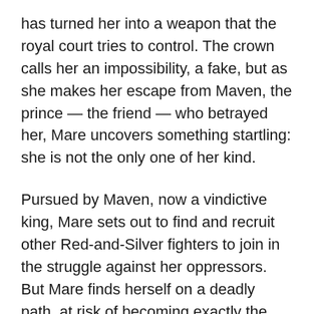has turned her into a weapon that the royal court tries to control. The crown calls her an impossibility, a fake, but as she makes her escape from Maven, the prince — the friend — who betrayed her, Mare uncovers something startling: she is not the only one of her kind.
Pursued by Maven, now a vindictive king, Mare sets out to find and recruit other Red-and-Silver fighters to join in the struggle against her oppressors. But Mare finds herself on a deadly path, at risk of becoming exactly the kind of monster she is trying to defeat.Will she shatter under the weight of the lives that are the cost of rebellion? Or have treachery and betrayal hardened her forever?
Ages 14+ | Publisher: HarperTeen | Feb. 9 2016 | ISBN-